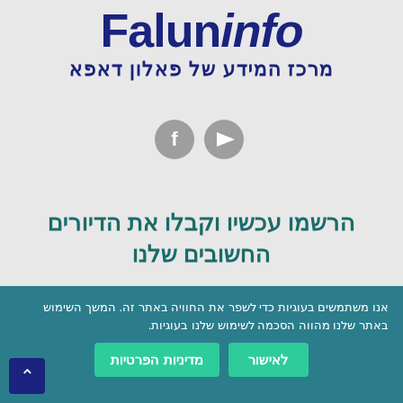FalunInfo - מרכז המידע של פאלון דאפא
[Figure (logo): FalunInfo logo with bold navy blue text 'Falun' in upright and 'info' in italic style, followed by Hebrew subtitle 'מרכז המידע של פאלון דאפא']
[Figure (illustration): Two circular social media icons (Facebook and YouTube) in grey]
הרשמו עכשיו וקבלו את הדיורים החשובים שלנו
שם
מייל
אנו משתמשים בעוגיות כדי לשפר את החוויה באתר זה. המשך השימוש באתר שלנו מהווה הסכמה לשימוש שלנו בעוגיות.
לאישור | מדיניות הפרטיות